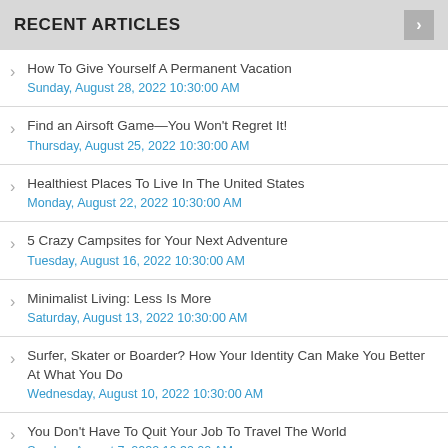RECENT ARTICLES
How To Give Yourself A Permanent Vacation
Sunday, August 28, 2022 10:30:00 AM
Find an Airsoft Game—You Won't Regret It!
Thursday, August 25, 2022 10:30:00 AM
Healthiest Places To Live In The United States
Monday, August 22, 2022 10:30:00 AM
5 Crazy Campsites for Your Next Adventure
Tuesday, August 16, 2022 10:30:00 AM
Minimalist Living: Less Is More
Saturday, August 13, 2022 10:30:00 AM
Surfer, Skater or Boarder? How Your Identity Can Make You Better At What You Do
Wednesday, August 10, 2022 10:30:00 AM
You Don't Have To Quit Your Job To Travel The World
Sunday, August 7, 2022 10:30:00 AM
Don't Let Intimidation Get in the Way of Doing Something Awesome
Monday, August 1, 2022 10:30:00 AM
Kindred Spirits: Why Having A Beach Buddy Is So…